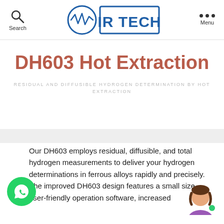[Figure (logo): IR Tech logo with circular waveform icon and blue rectangular border with IR TECH text]
DH603 Hot Extraction
RESIDUAL AND DIFFUSIBLE HYDROGEN DETERMINATION BY HOT EXTRACTION
Our DH603 employs residual, diffusible, and total hydrogen measurements to deliver your hydrogen determinations in ferrous alloys rapidly and precisely. The improved DH603 design features a small size, user-friendly operation software, increased